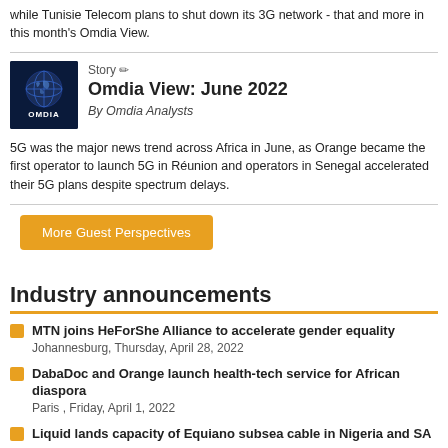while Tunisie Telecom plans to shut down its 3G network - that and more in this month's Omdia View.
[Figure (logo): Omdia logo on dark blue background with globe image]
Story ✏ Omdia View: June 2022
By Omdia Analysts
5G was the major news trend across Africa in June, as Orange became the first operator to launch 5G in Réunion and operators in Senegal accelerated their 5G plans despite spectrum delays.
More Guest Perspectives
Industry announcements
MTN joins HeForShe Alliance to accelerate gender equality
Johannesburg, Thursday, April 28, 2022
DabaDoc and Orange launch health-tech service for African diaspora
Paris , Friday, April 1, 2022
Liquid lands capacity of Equiano subsea cable in Nigeria and SA